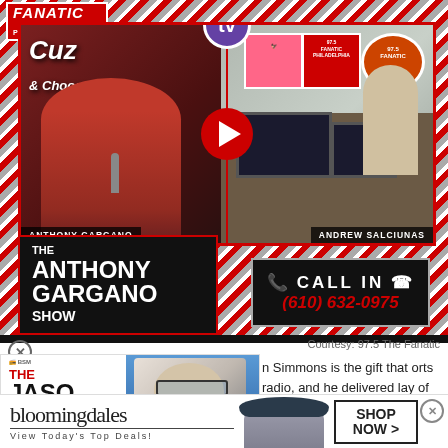[Figure (screenshot): 97.5 The Fanatic Philadelphia radio station Twitch stream showing Anthony Gargano and Andrew Salciunas in studio with play button overlay]
[Figure (logo): The Anthony Gargano Show logo in red and black with border]
CALL IN (610) 632-0975
Courtesy: 97.5 The Fanatic
[Figure (advertisement): The Jason Barrett Podcast ad featuring Paul Finebaum]
n Simmons is the gift that orts radio, and he delivered lay of the 75th NBA season.
[Figure (advertisement): Bloomingdale's advertisement - View Today's Top Deals! SHOP NOW >]